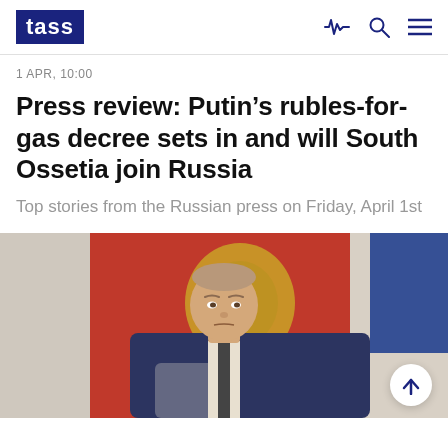TASS
1 APR, 10:00
Press review: Putin’s rubles-for-gas decree sets in and will South Ossetia join Russia
Top stories from the Russian press on Friday, April 1st
[Figure (photo): Photograph of Vladimir Putin seated, wearing a dark suit, with a red flag featuring the Russian coat of arms in gold visible behind him, against a light background.]